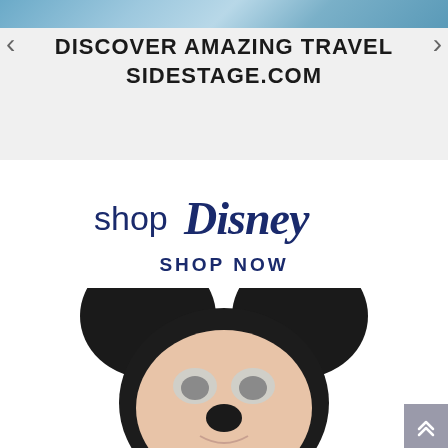[Figure (screenshot): Top banner ad showing a travel image (icy/snowy scenery) with left and right navigation arrows, and bold text reading 'DISCOVER AMAZING TRAVEL SIDESTAGE.COM']
[Figure (logo): shopDisney logo with 'shop' in lowercase and 'Disney' in stylized Disney font, both in dark navy/blue color]
SHOP NOW
[Figure (photo): Mickey Mouse plush toy showing head and large round black ears, with peach/beige face, white and grey eyes, black nose, centered on white background]
[Figure (other): Grey scroll-to-top button with double chevron arrow in bottom right corner]